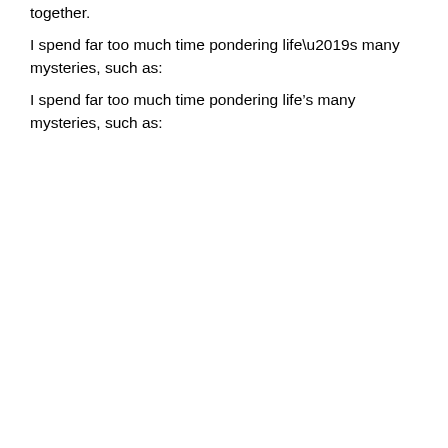together.
I spend far too much time pondering life’s many mysteries, such as:
“Why have my book sales actually reached negative levels?”
“Is Justin Bieber a Biblical plague in near-human form?”
“Why do parents tell their children to be careful after they’ve suffered an accident?”
“What can I do next to drive lesbians into a murderous rage?”
Instead, I should be reminding myself of just how wonderful a place Niagara actually is, and why. Here are just five reasons why this region is truly worth exploring.